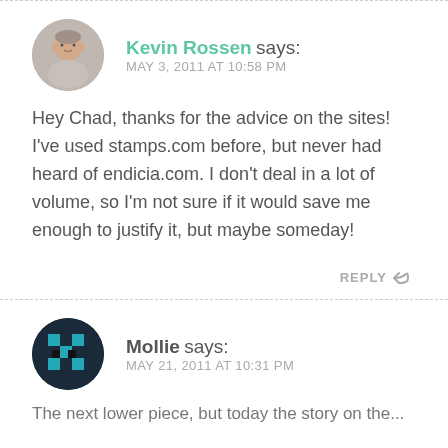Kevin Rossen says:
MAY 3, 2011 AT 10:58 PM
Hey Chad, thanks for the advice on the sites! I've used stamps.com before, but never had heard of endicia.com. I don't deal in a lot of volume, so I'm not sure if it would save me enough to justify it, but maybe someday!
REPLY
Mollie says:
MAY 21, 2011 AT 10:31 PM
The next lower piece, but today the story on the...